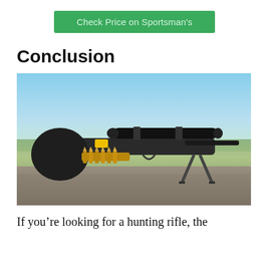Check Price on Sportsman's
Conclusion
[Figure (photo): A bolt-action hunting rifle with a telescopic scope, mounted on a bipod, resting on a rock ledge with a rural landscape in the background. A bandolier of rifle ammunition is attached to the stock.]
If you’re looking for a hunting rifle, the